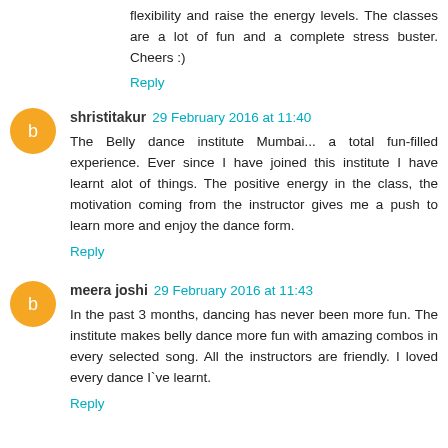flexibility and raise the energy levels. The classes are a lot of fun and a complete stress buster. Cheers :)
Reply
shristitakur 29 February 2016 at 11:40
The Belly dance institute Mumbai... a total fun-filled experience. Ever since I have joined this institute I have learnt alot of things. The positive energy in the class, the motivation coming from the instructor gives me a push to learn more and enjoy the dance form.
Reply
meera joshi 29 February 2016 at 11:43
In the past 3 months, dancing has never been more fun. The institute makes belly dance more fun with amazing combos in every selected song. All the instructors are friendly. I loved every dance I`ve learnt.
Reply